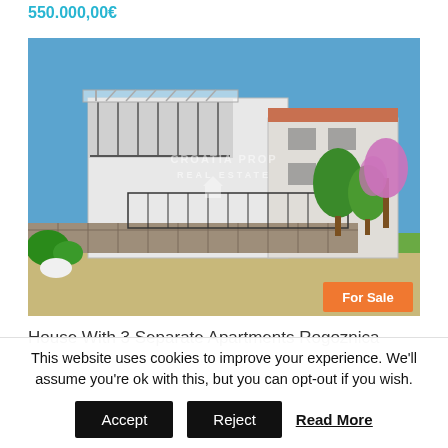550.000,00€
[Figure (photo): Exterior photo of a white two-story house with balcony, stone fence, trees with pink blooms, blue sky. Croatia Property Real Estate watermark. 'For Sale' orange badge in bottom right corner.]
House With 3 Separate Apartments Rogoznica
This website uses cookies to improve your experience. We'll assume you're ok with this, but you can opt-out if you wish.
Accept   Reject   Read More